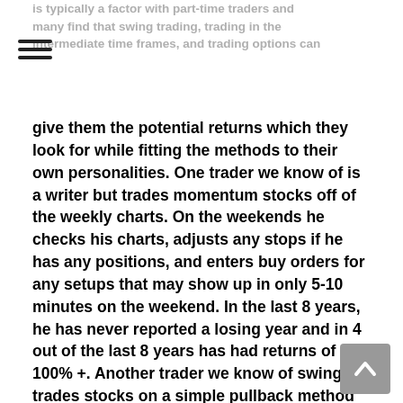is typically a factor with part-time traders and many find that swing trading, trading in the intermediate time frames, and trading options can
give them the potential returns which they look for while fitting the methods to their own personalities. One trader we know of is a writer but trades momentum stocks off of the weekly charts. On the weekends he checks his charts, adjusts any stops if he has any positions, and enters buy orders for any setups that may show up in only 5-10 minutes on the weekend. In the last 8 years, he has never reported a losing year and in 4 out of the last 8 years has had returns of 100% +. Another trader we know of swing trades stocks on a simple pullback method he developed using a simple indicator while still working as an engineer at one of the major auto manufacturers and during his first year he reported profits of over $200,000. Each of these traders found methods which work along with their personalities. The third thing that aspiring part-time traders have to do, as well as professional traders, is to absolutely have a system